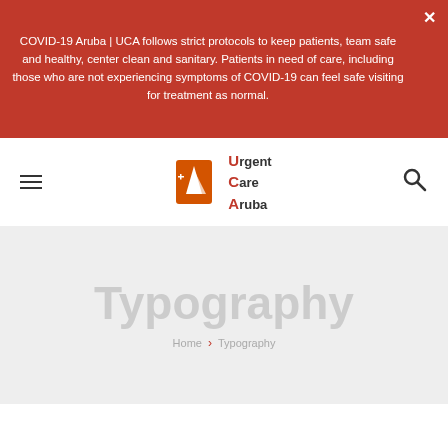COVID-19 Aruba | UCA follows strict protocols to keep patients, team safe and healthy, center clean and sanitary. Patients in need of care, including those who are not experiencing symptoms of COVID-19 can feel safe visiting for treatment as normal.
[Figure (logo): Urgent Care Aruba logo with sailboat icon and text]
Typography
Home > Typography